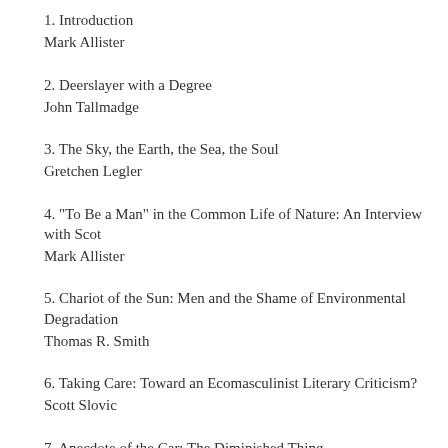1. Introduction
Mark Allister
2. Deerslayer with a Degree
John Tallmadge
3. The Sky, the Earth, the Sea, the Soul
Gretchen Legler
4. "To Be a Man" in the Common Life of Nature: An Interview with Scot
Mark Allister
5. Chariot of the Sun: Men and the Shame of Environmental Degradation
Thomas R. Smith
6. Taking Care: Toward an Ecomasculinist Literary Criticism?
Scott Slovic
7. Anecdote of the Car: The Diminished Thing
Alvin Handelman